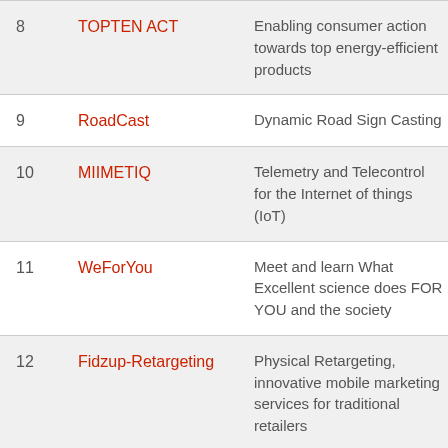| # | Name | Description |
| --- | --- | --- |
| 8 | TOPTEN ACT | Enabling consumer action towards top energy-efficient products |
| 9 | RoadCast | Dynamic Road Sign Casting |
| 10 | MIIMETIQ | Telemetry and Telecontrol for the Internet of things (IoT) |
| 11 | WeForYou | Meet and learn What Excellent science does FOR YOU and the society |
| 12 | Fidzup-Retargeting | Physical Retargeting, innovative mobile marketing services for traditional retailers |